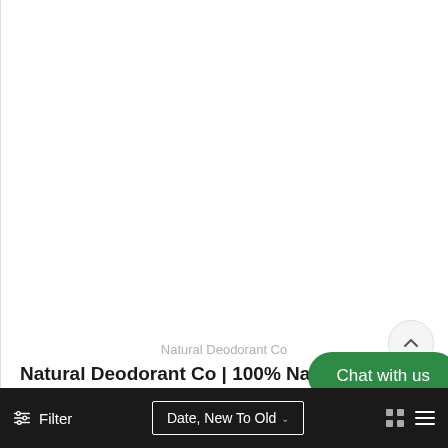Natural Deodorant Co
Natural Deodorant Co | 100% Nat… and Sensitive Deodorant…
[Figure (screenshot): Scroll to top button (chevron up icon) on a light circular background]
[Figure (other): Green rounded chat button with text 'Chat with us']
Filter   Date, New To Old ˅   [grid icons]